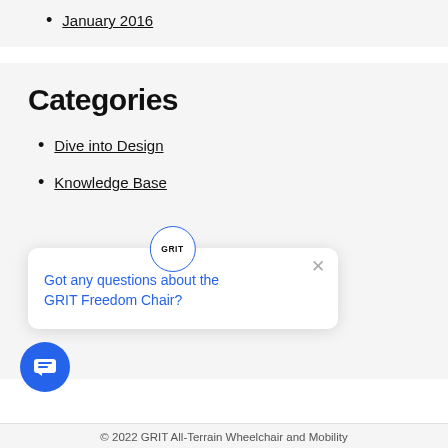January 2016
Categories
Dive into Design
Knowledge Base
Got any questions about the GRIT Freedom Chair?
© 2022 GRIT All-Terrain Wheelchair and Mobility